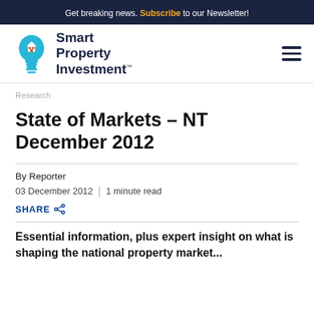Get breaking news. Subscribe to our Newsletter!
[Figure (logo): Smart Property Investment logo with lightbulb icon and bold text]
Research
State of Markets - NT December 2012
By Reporter
03 December 2012 | 1 minute read
SHARE
Essential information, plus expert insight on what is shaping the national property market...